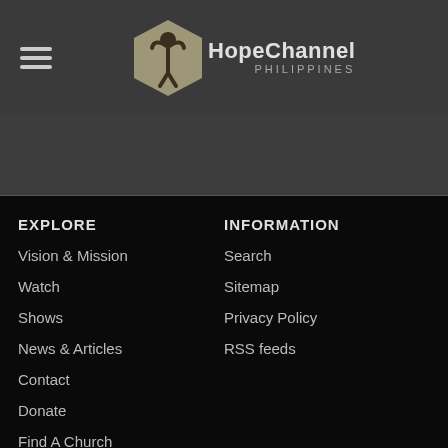HopeChannel PHILIPPINES
EXPLORE
Vision & Mission
Watch
Shows
News & Articles
Contact
Donate
Find A Church
Study the Bible
INFORMATION
Search
Sitemap
Privacy Policy
RSS feeds